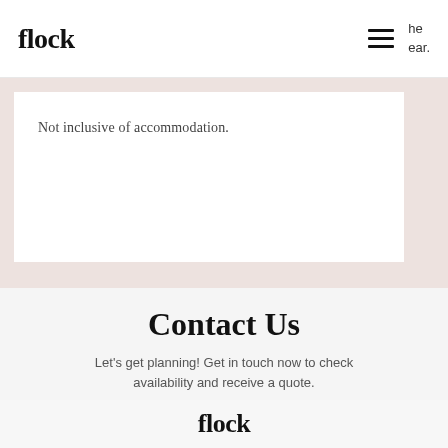flock    he ear.
Not inclusive of accommodation.
Contact Us
Let's get planning! Get in touch now to check availability and receive a quote.
Enquire Now
flock